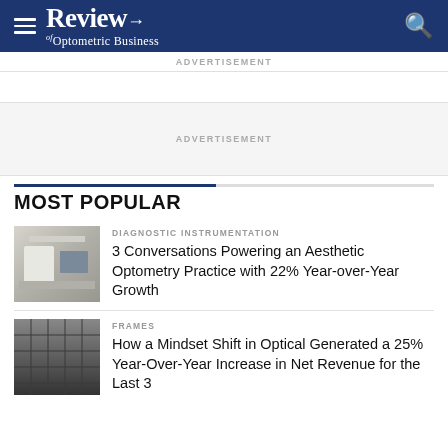Review of Optometric Business
ADVERTISEMENT
ADVERTISEMENT
MOST POPULAR
DIAGNOSTIC INSTRUMENTATION
3 Conversations Powering an Aesthetic Optometry Practice with 22% Year-over-Year Growth
FRAMES
How a Mindset Shift in Optical Generated a 25% Year-Over-Year Increase in Net Revenue for the Last 3